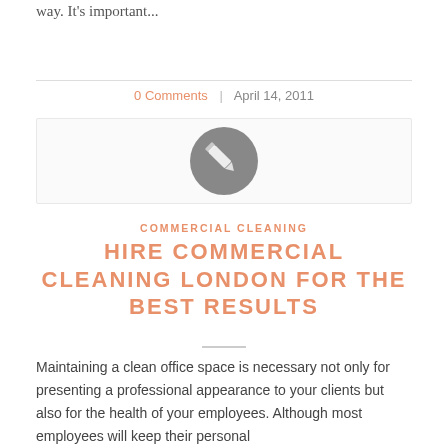way. It's important...
0 Comments | April 14, 2011
[Figure (illustration): Gray circle with a pencil/edit icon inside, centered in a light bordered card]
COMMERCIAL CLEANING
HIRE COMMERCIAL CLEANING LONDON FOR THE BEST RESULTS
Maintaining a clean office space is necessary not only for presenting a professional appearance to your clients but also for the health of your employees. Although most employees will keep their personal